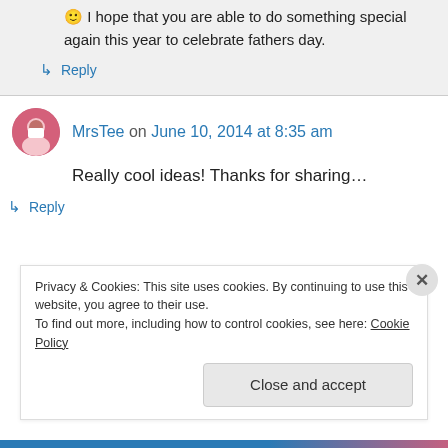🙂 I hope that you are able to do something special again this year to celebrate fathers day.
↳ Reply
MrsTee on June 10, 2014 at 8:35 am
Really cool ideas! Thanks for sharing…
↳ Reply
Privacy & Cookies: This site uses cookies. By continuing to use this website, you agree to their use. To find out more, including how to control cookies, see here: Cookie Policy
Close and accept